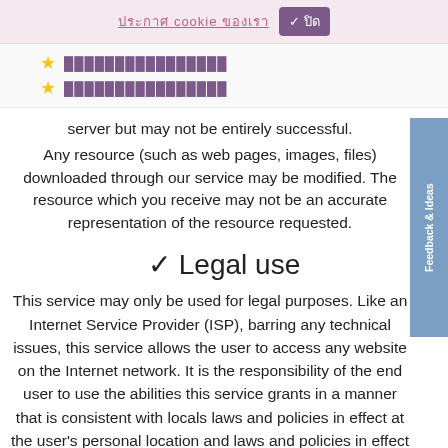ประกาศ cookie ของเรา ✓ ปิด
★ ████████████████
★ ████████████████
server but may not be entirely successful.
Any resource (such as web pages, images, files) downloaded through our service may be modified. The resource which you receive may not be an accurate representation of the resource requested.
✓ Legal use
This service may only be used for legal purposes. Like an Internet Service Provider (ISP), barring any technical issues, this service allows the user to access any website on the Internet network. It is the responsibility of the end user to use the abilities this service grants in a manner that is consistent with locals laws and policies in effect at the user's personal location and laws and policies in effect at